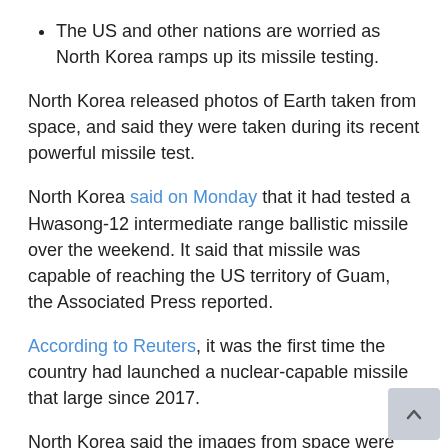The US and other nations are worried as North Korea ramps up its missile testing.
North Korea released photos of Earth taken from space, and said they were taken during its recent powerful missile test.
North Korea said on Monday that it had tested a Hwasong-12 intermediate range ballistic missile over the weekend. It said that missile was capable of reaching the US territory of Guam, the Associated Press reported.
According to Reuters, it was the first time the country had launched a nuclear-capable missile that large since 2017.
North Korea said the images from space were taken by a camera that was on the warhead of the missile.
The photos show the Korean peninsula.
This appears to be North Korea's seventh missile test this month alone.